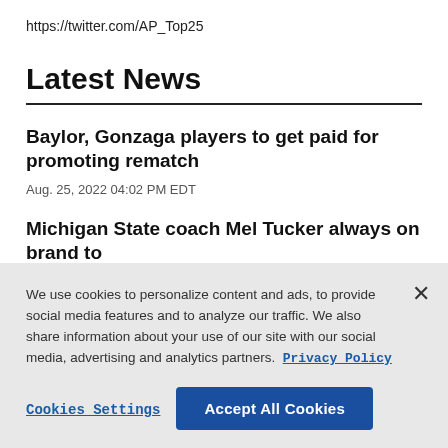https://twitter.com/AP_Top25
Latest News
Baylor, Gonzaga players to get paid for promoting rematch
Aug. 25, 2022 04:02 PM EDT
Michigan State coach Mel Tucker always on brand to promote
We use cookies to personalize content and ads, to provide social media features and to analyze our traffic. We also share information about your use of our site with our social media, advertising and analytics partners. Privacy Policy
Cookies Settings
Accept All Cookies